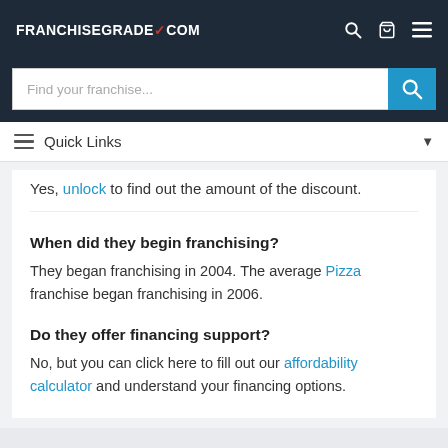FRANCHISEGRADE.COM
Find your franchise...
Quick Links
Yes, unlock to find out the amount of the discount.
When did they begin franchising?
They began franchising in 2004. The average Pizza franchise began franchising in 2006.
Do they offer financing support?
No, but you can click here to fill out our affordability calculator and understand your financing options.